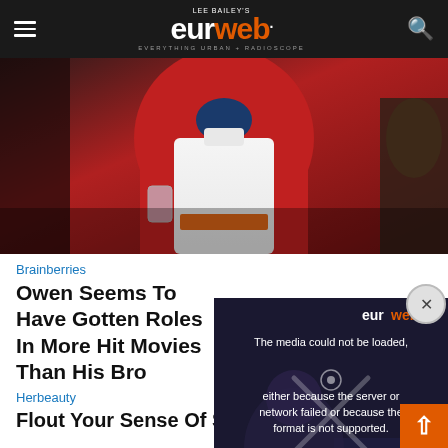Lee Bailey's eurweb.com – Everything Urban + Radioscope
[Figure (photo): Person wearing a red shirt and white apron, holding a glass, standing in what appears to be a kitchen setting.]
Brainberries
Owen Seems To Have Gotten Roles In More Hit Movies Than His Bro
[Figure (screenshot): Video player error overlay reading: 'The media could not be loaded, either because the server or network failed or because the format is not supported.' with an eye icon and an X mark. The eurweb logo is partially visible in the top right. A close (×) button appears as a circle in the top right corner of the popup.]
Herbeauty
Flout Your Sense Of Style With Amazing Sexy Outfits